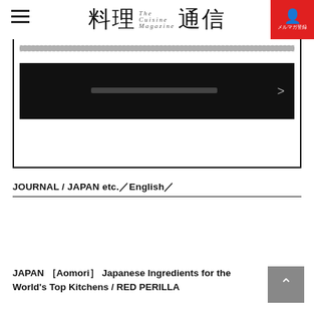料理通信
[Figure (screenshot): Dark button with Japanese placeholder text and right arrow, inside a bordered content box with decorative squiggle bar at top]
JOURNAL / JAPAN etc.／English／
JAPAN ［Aomori］ Japanese Ingredients for the World's Top Kitchens / RED PERILLA